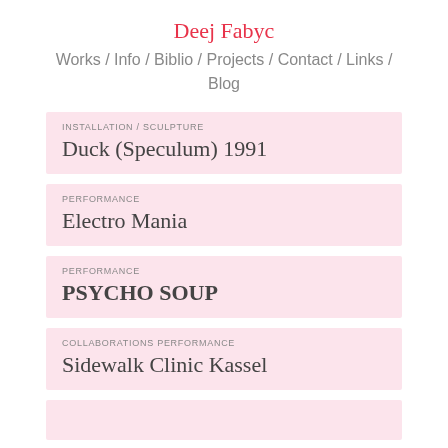Deej Fabyc
Works / Info / Biblio / Projects / Contact / Links / Blog
INSTALLATION / SCULPTURE
Duck (Speculum) 1991
PERFORMANCE
Electro Mania
PERFORMANCE
PSYCHO SOUP
COLLABORATIONS PERFORMANCE
Sidewalk Clinic Kassel